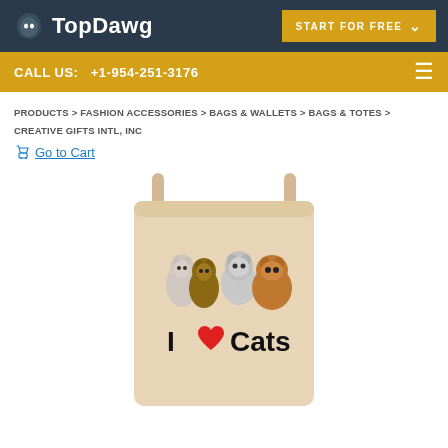TopDawg | START FOR FREE
CALL US: +1-954-251-3176
PRODUCTS > FASHION ACCESSORIES > BAGS & WALLETS > BAGS & TOTES > CREATIVE GIFTS INTL, INC
Go to Cart
[Figure (photo): A beige/tan drawstring bag displaying an 'I Love Cats' graphic with four kittens and a red heart symbol]